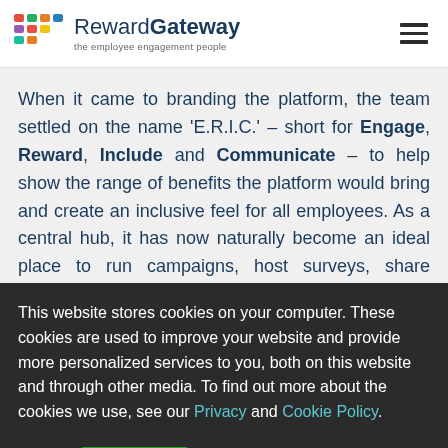Reward Gateway – the employee engagement people
When it came to branding the platform, the team settled on the name 'E.R.I.C.' – short for Engage, Reward, Include and Communicate – to help show the range of benefits the platform would bring and create an inclusive feel for all employees. As a central hub, it has now naturally become an ideal place to run campaigns, host surveys, share engaging content and
This website stores cookies on your computer. These cookies are used to improve your website and provide more personalized services to you, both on this website and through other media. To find out more about the cookies we use, see our Privacy and Cookie Policy.